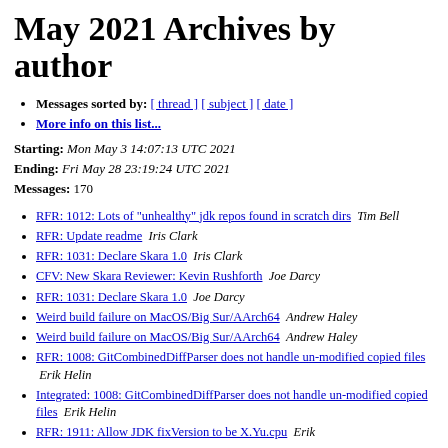May 2021 Archives by author
Messages sorted by: [ thread ] [ subject ] [ date ]
More info on this list...
Starting: Mon May 3 14:07:13 UTC 2021
Ending: Fri May 28 23:19:24 UTC 2021
Messages: 170
RFR: 1012: Lots of "unhealthy" jdk repos found in scratch dirs   Tim Bell
RFR: Update readme   Iris Clark
RFR: 1031: Declare Skara 1.0   Iris Clark
CFV: New Skara Reviewer: Kevin Rushforth   Joe Darcy
RFR: 1031: Declare Skara 1.0   Joe Darcy
Weird build failure on MacOS/Big Sur/AArch64   Andrew Haley
Weird build failure on MacOS/Big Sur/AArch64   Andrew Haley
RFR: 1008: GitCombinedDiffParser does not handle un-modified copied files   Erik Helin
Integrated: 1008: GitCombinedDiffParser does not handle un-modified copied files   Erik Helin
RFR: 1911: Allow JDK fixVersion to be X.Y.u.cpu   Erik